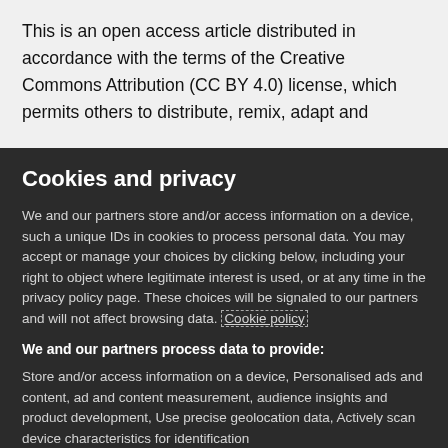This is an open access article distributed in accordance with the terms of the Creative Commons Attribution (CC BY 4.0) license, which permits others to distribute, remix, adapt and
Cookies and privacy
We and our partners store and/or access information on a device, such a unique IDs in cookies to process personal data. You may accept or manage your choices by clicking below, including your right to object where legitimate interest is used, or at any time in the privacy policy page. These choices will be signaled to our partners and will not affect browsing data. Cookie policy
We and our partners process data to provide:
Store and/or access information on a device, Personalised ads and content, ad and content measurement, audience insights and product development, Use precise geolocation data, Actively scan device characteristics for identification
List of Partners (vendors)
I Accept